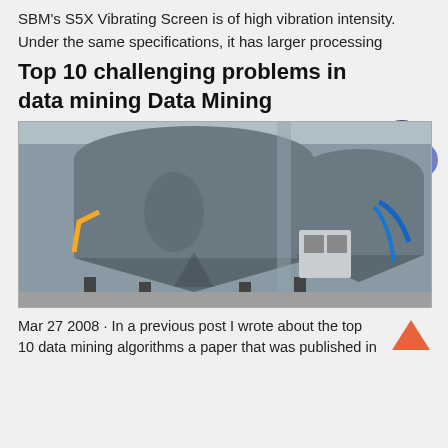SBM's S5X Vibrating Screen is of high vibration intensity.
Under the same specifications, it has larger processing
Top 10 challenging problems in data mining Data Mining
[Figure (photo): Industrial mining equipment — two large gray cylindrical pressure vessels/tanks with conical bottoms, mounted on metal frames inside an industrial facility, with blue pipes and a control panel between them.]
Mar 27 2008 · In a previous post I wrote about the top 10 data mining algorithms a paper that was published in